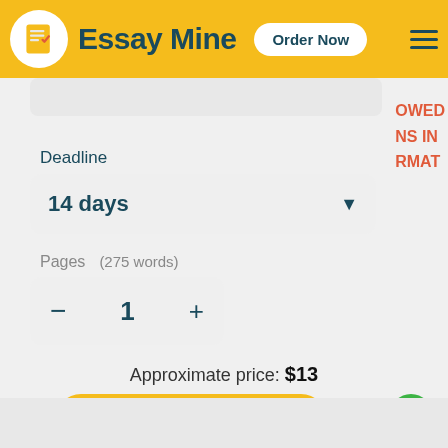Essay Mine | Order Now
OWED
NS IN
RMAT
Deadline
14 days
Pages   (275 words)
1
Approximate price: $13
Continue to order